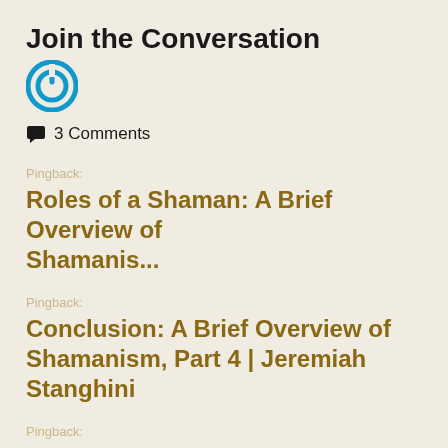Join the Conversation
[Figure (logo): Blue circular power/refresh icon]
💬  3 Comments
Pingback:
Roles of a Shaman: A Brief Overview of Shamanis...
Pingback:
Conclusion: A Brief Overview of Shamanism, Part 4 | Jeremiah Stanghini
Pingback:
How to Become a Shaman –